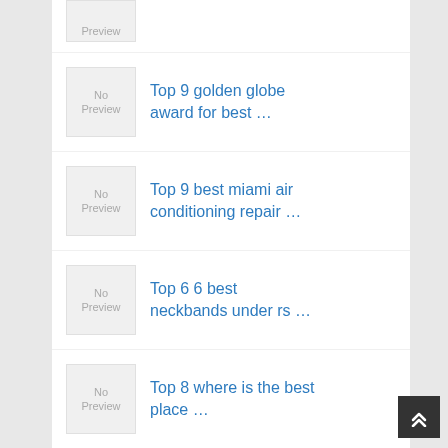No Preview (partial, top-cropped)
Top 9 golden globe award for best …
Top 9 best miami air conditioning repair …
Top 6 6 best neckbands under rs …
Top 8 where is the best place …
Top 8 what is the best (partial, bottom-cropped)